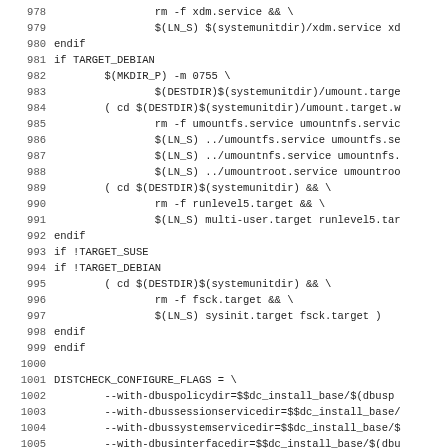Makefile code snippet, lines 978-1010, showing install rules for TARGET_DEBIAN and TARGET_SUSE conditions, and DISTCHECK_CONFIGURE_FLAGS definition.